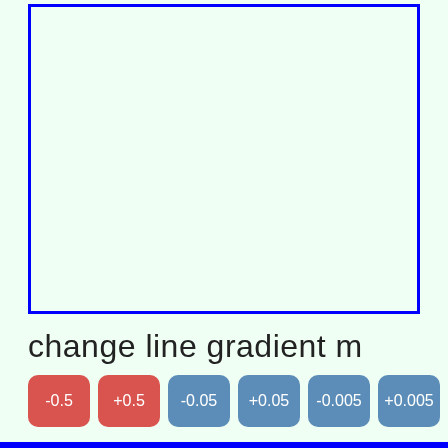[Figure (other): Empty light-green canvas area with blue border, representing a graphing/plotting area for a line gradient interactive tool.]
change line gradient m
-0.5 +0.5 -0.05 +0.05 -0.005 +0.005